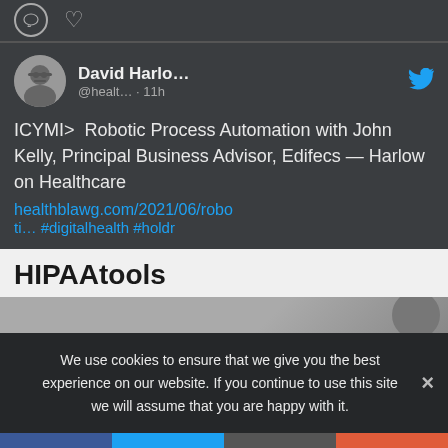[Figure (screenshot): Top bar with comment bubble icon and heart icon]
[Figure (screenshot): Tweet card from David Harlo... @healt... 11h with Twitter bird icon and user avatar]
ICYMI>  Robotic Process Automation with John Kelly, Principal Business Advisor, Edifecs — Harlow on Healthcare
healthblawg.com/2021/06/robo ti… #digitalhealth #holdr
HIPAAtools
[Figure (photo): Partial image below HIPAAtools heading, showing dark background with circular element on right]
We use cookies to ensure that we give you the best experience on our website. If you continue to use this site we will assume that you are happy with it.
[Figure (screenshot): Social sharing bar with Facebook, Twitter, email/share, and plus buttons]